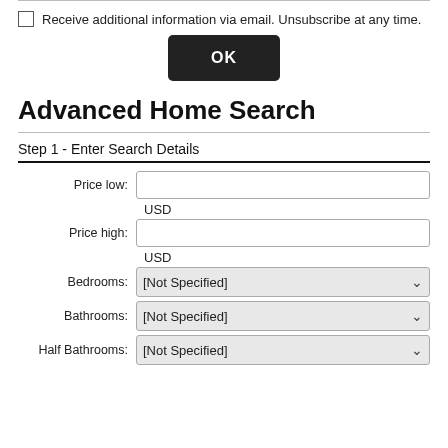Receive additional information via email. Unsubscribe at any time.
OK
Advanced Home Search
Step 1 - Enter Search Details
Price low:
USD
Price high:
USD
Bedrooms: [Not Specified]
Bathrooms: [Not Specified]
Half Bathrooms: [Not Specified]